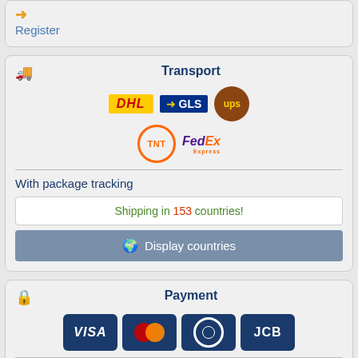Register
Transport
[Figure (logo): Shipping carrier logos: DHL, GLS, UPS, TNT, FedEx Express]
With package tracking
Shipping in 153 countries!
Display countries
Payment
[Figure (logo): Payment card logos: VISA, Mastercard, Diners Club, JCB]
Prepayment using bank transfer => discount on all items of 2%